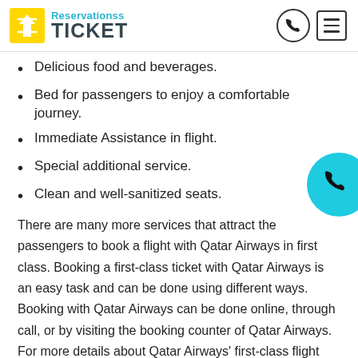Reservationss TICKET
Delicious food and beverages.
Bed for passengers to enjoy a comfortable journey.
Immediate Assistance in flight.
Special additional service.
Clean and well-sanitized seats.
[Figure (illustration): Cyan floating phone button circle in bottom-right area]
There are many more services that attract the passengers to book a flight with Qatar Airways in first class. Booking a first-class ticket with Qatar Airways is an easy task and can be done using different ways. Booking with Qatar Airways can be done online, through call, or by visiting the booking counter of Qatar Airways. For more details about Qatar Airways' first-class flight booking, you can contact the Qatar Airways customer service or you can also visit